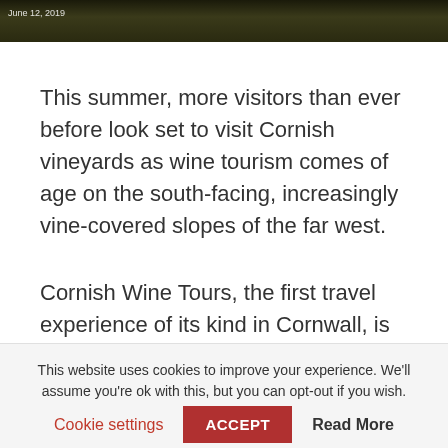[Figure (photo): Dark nature/vineyard photo strip at the top of the page]
June 12, 2019
This summer, more visitors than ever before look set to visit Cornish vineyards as wine tourism comes of age on the south-facing, increasingly vine-covered slopes of the far west.
Cornish Wine Tours, the first travel experience of its kind in Cornwall, is reporting a surge in interest and high booking numbers, thanks to a buoyant English wine scene and improved transport links into the Duchy.
This website uses cookies to improve your experience. We'll assume you're ok with this, but you can opt-out if you wish.
Cookie settings
ACCEPT
Read More